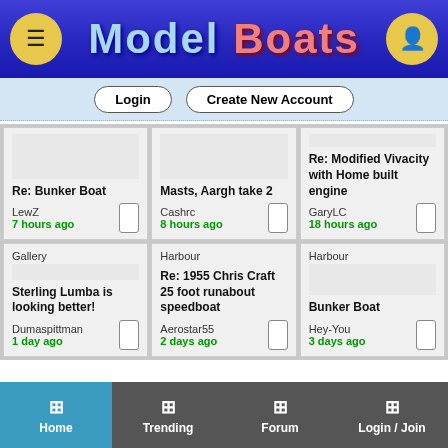Model Boats
Login | Create New Account
Re: Bunker Boat | LewZ | 7 hours ago
Masts, Aargh take 2 | Cashrc | 8 hours ago
Re: Modified Vivacity with Home built engine | GaryLC | 18 hours ago
Gallery | Sterling Lumba is looking better! | Dumaspittman | 1 day ago
Harbour | Re: 1955 Chris Craft 25 foot runabout speedboat | Aerostar55 | 2 days ago
Harbour | Bunker Boat | Hey-You | 3 days ago
Home | Trending | Forum | Login / Join